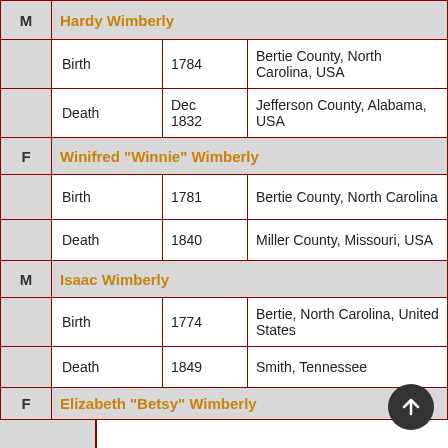| Gender | Name/Event | Date | Place |
| --- | --- | --- | --- |
| M | Hardy Wimberly |  |  |
|  | Birth | 1784 | Bertie County, North Carolina, USA |
|  | Death | Dec 1832 | Jefferson County, Alabama, USA |
| F | Winifred "Winnie" Wimberly |  |  |
|  | Birth | 1781 | Bertie County, North Carolina |
|  | Death | 1840 | Miller County, Missouri, USA |
| M | Isaac Wimberly |  |  |
|  | Birth | 1774 | Bertie, North Carolina, United States |
|  | Death | 1849 | Smith, Tennessee |
| F | Elizabeth "Betsy" Wimberly |  |  |